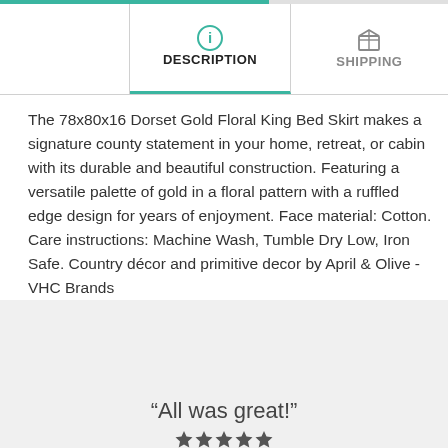DESCRIPTION
SHIPPING
The 78x80x16 Dorset Gold Floral King Bed Skirt makes a signature county statement in your home, retreat, or cabin with its durable and beautiful construction. Featuring a versatile palette of gold in a floral pattern with a ruffled edge design for years of enjoyment. Face material: Cotton. Care instructions: Machine Wash, Tumble Dry Low, Iron Safe. Country décor and primitive decor by April & Olive - VHC Brands
“All was great!”